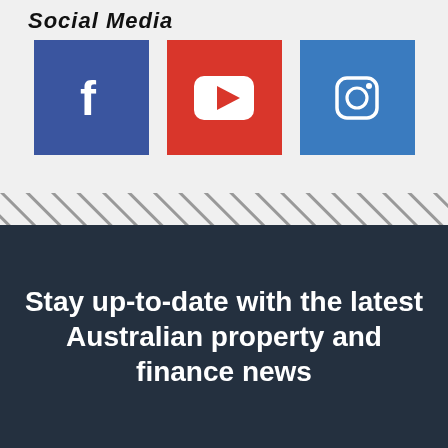Social Media
[Figure (infographic): Three social media icons: Facebook (blue square with white f), YouTube (red square with white play button), Instagram (blue square with white camera/Instagram icon)]
[Figure (other): Diagonal hatch pattern strip divider]
Stay up-to-date with the latest Australian property and finance news